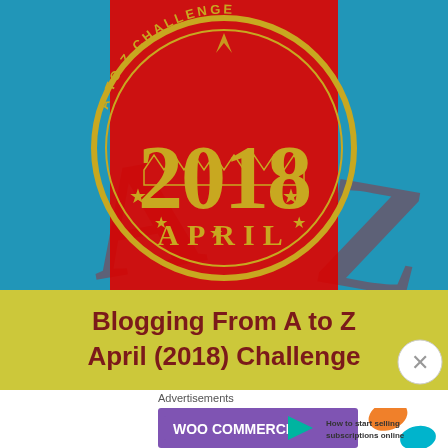[Figure (illustration): A-to-Z Blogging Challenge 2018 badge: circular stamp design with '2018' in large gold text on red background with teal/blue side panels. Bottom yellow section reads 'Blogging From A to Z April (2018) Challenge' in dark red/brown text.]
Advertisements
[Figure (illustration): WooCommerce advertisement banner: purple background with WooCommerce logo and arrow, text 'How to start selling subscriptions online', with orange and teal decorative shapes.]